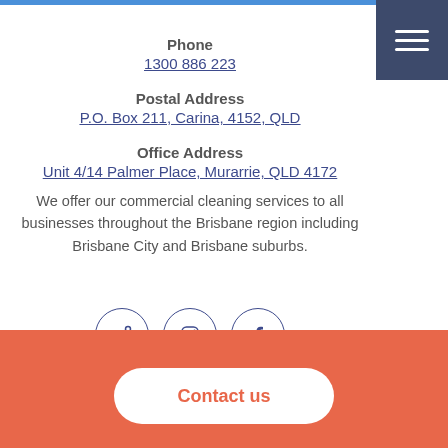Phone
1300 886 223
Postal Address
P.O. Box 211, Carina, 4152, QLD
Office Address
Unit 4/14 Palmer Place, Murarrie, QLD 4172
We offer our commercial cleaning services to all businesses throughout the Brisbane region including Brisbane City and Brisbane suburbs.
[Figure (other): Social media icons: share, Instagram, Facebook in circles]
[Figure (logo): Partial logo with person figure in orange/blue/black]
Contact us